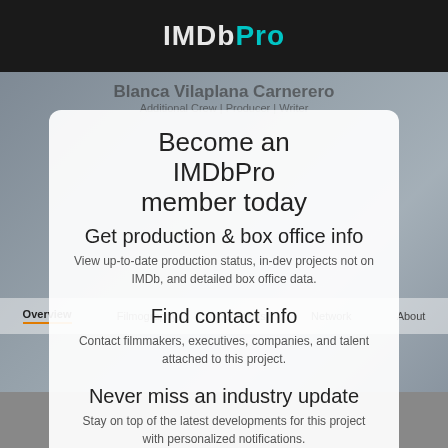IMDbPro
[Figure (screenshot): Background screenshot of IMDb profile page for Blanca Vilaplana Carnerero, Additional Crew | Producer | Writer, with navigation tabs Overview, Filmography, Contacts, Network, About]
Become an IMDbPro member today
Get production & box office info
View up-to-date production status, in-dev projects not on IMDb, and detailed box office data.
Find contact info
Contact filmmakers, executives, companies, and talent attached to this project.
Never miss an industry update
Stay on top of the latest developments for this project with personalized notifications.